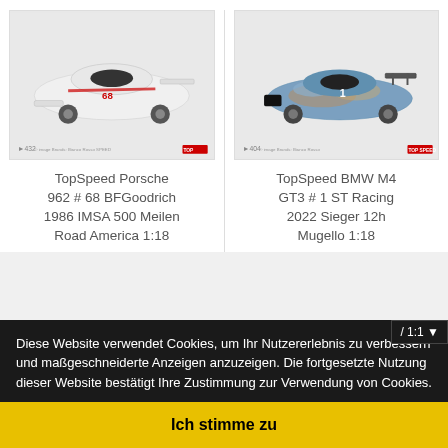[Figure (photo): TopSpeed Porsche 962 scale model car, white with black and red livery, number 68, BFGoodrich. Product card image with catalog number 432.]
TopSpeed Porsche 962 # 68 BFGoodrich 1986 IMSA 500 Meilen Road America 1:18
[Figure (photo): TopSpeed BMW M4 GT3 scale model car, blue/gold camouflage livery, number 1, ST Racing. Product card image with catalog number 404.]
TopSpeed BMW M4 GT3 # 1 ST Racing 2022 Sieger 12h Mugello 1:18
Diese Website verwendet Cookies, um Ihr Nutzererlebnis zu verbessern und maßgeschneiderte Anzeigen anzuzeigen. Die fortgesetzte Nutzung dieser Website bestätigt Ihre Zustimmung zur Verwendung von Cookies.
/ 1:1
Ich stimme zu